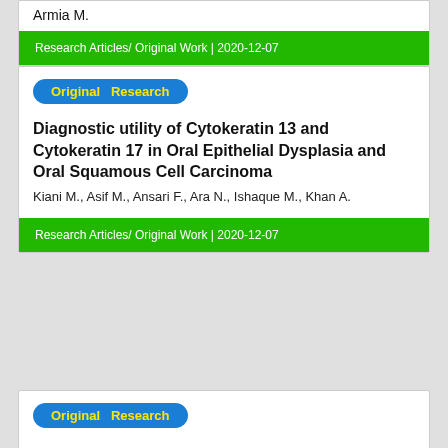Armia M.
Research Articles/ Original Work | 2020-12-07
Original Research
Diagnostic utility of Cytokeratin 13 and Cytokeratin 17 in Oral Epithelial Dysplasia and Oral Squamous Cell Carcinoma
Kiani M., Asif M., Ansari F., Ara N., Ishaque M., Khan A.
Research Articles/ Original Work | 2020-12-07
Original Research